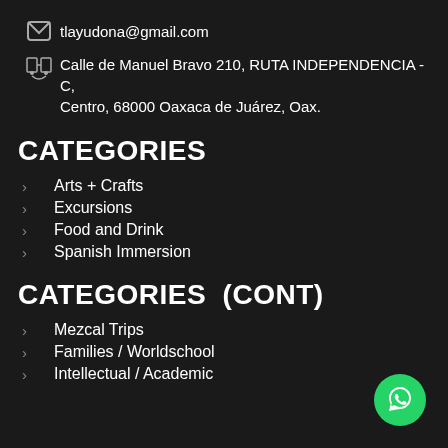tlayudona@gmail.com
Calle de Manuel Bravo 210, RUTA INDEPENDENCIA - C, Centro, 68000 Oaxaca de Juárez, Oax.
CATEGORIES
Arts + Crafts
Excursions
Food and Drink
Spanish Immersion
CATEGORIES  (CONT)
Mezcal Trips
Families / Worldschool
Intellectual / Academic